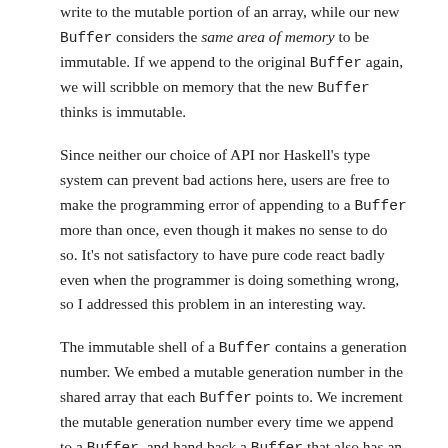write to the mutable portion of an array, while our new Buffer considers the same area of memory to be immutable. If we append to the original Buffer again, we will scribble on memory that the new Buffer thinks is immutable.
Since neither our choice of API nor Haskell's type system can prevent bad actions here, users are free to make the programming error of appending to a Buffer more than once, even though it makes no sense to do so. It's not satisfactory to have pure code react badly even when the programmer is doing something wrong, so I addressed this problem in an interesting way.
The immutable shell of a Buffer contains a generation number. We embed a mutable generation number in the shared array that each Buffer points to. We increment the mutable generation number every time we append to a Buffer, and hand back a Buffer that also has an incremented immutable generation number.
The mutable and immutable generation numbers should